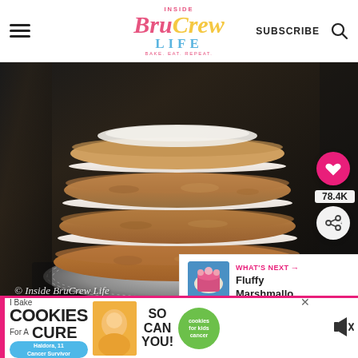Inside BruCrew Life - BAKE. EAT. REPEAT.
[Figure (photo): A tall stack of layered cookies with white cream filling between each layer, placed on a white paper doily on a dark surface. Watermark reads: © Inside BruCrew Life]
78.4K
WHAT'S NEXT → Fluffy Marshmallo...
[Figure (photo): Small thumbnail of Fluffy Marshmallow recipe next to 'What's Next' label]
I Bake COOKIES For A CURE • Haldora, 11 Cancer Survivor • So can you! • cookies for kids cancer